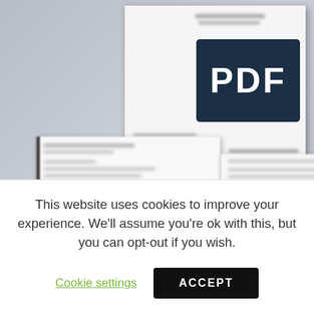[Figure (screenshot): Blurred screenshot of multiple overlapping document pages (PDF files). The top-right document shows a dark navy rectangle with large white bold text 'PDF'. Beneath and to the left are additional blurred white document pages with indistinct text lines, suggesting form or letter content.]
This website uses cookies to improve your experience. We'll assume you're ok with this, but you can opt-out if you wish.
Cookie settings
ACCEPT